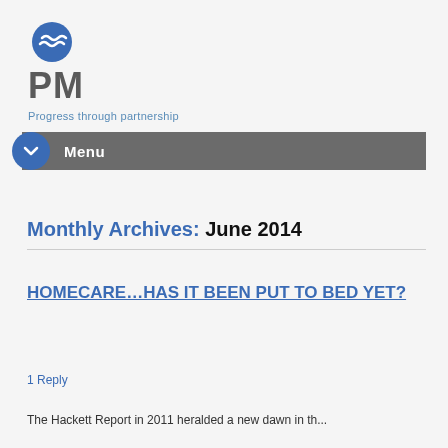[Figure (logo): PM logo with blue swirl icon above 'PM' in dark grey and tagline 'Progress through partnership' in blue]
Menu
Monthly Archives: June 2014
HOMECARE…HAS IT BEEN PUT TO BED YET?
1 Reply
The Hackett Report in 2011 heralded a new dawn in the...